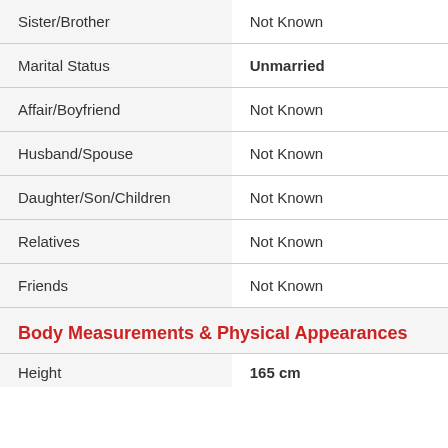| Sister/Brother | Not Known |
| Marital Status | Unmarried |
| Affair/Boyfriend | Not Known |
| Husband/Spouse | Not Known |
| Daughter/Son/Children | Not Known |
| Relatives | Not Known |
| Friends | Not Known |
Body Measurements & Physical Appearances
| Height | 165 cm |